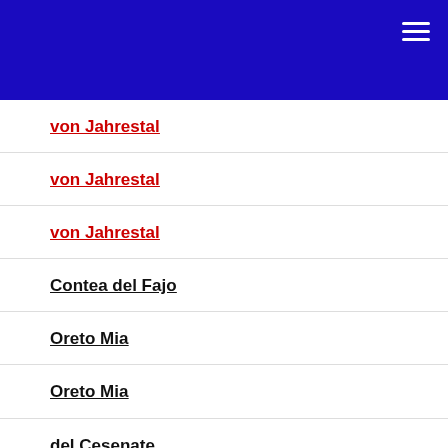von Jahrestal
von Jahrestal
von Jahrestal
Contea del Fajo
Oreto Mia
Oreto Mia
del Cesenate
Black Novak
Islamorada
von Fuerst Leopold